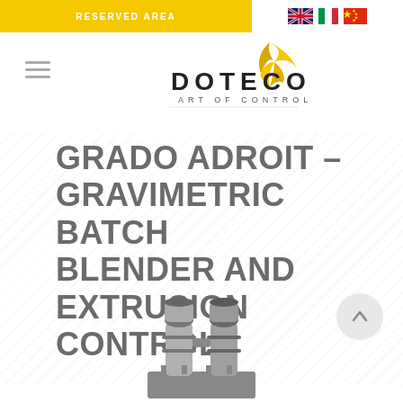RESERVED AREA
[Figure (logo): Doteco Art of Control logo with golden bird/flame and stylized text]
GRADO ADROIT – GRAVIMETRIC BATCH BLENDER AND EXTRUSION CONTROL
[Figure (photo): Industrial gravimetric batch blender machine, metallic cylindrical components viewed from above]
[Figure (other): Scroll-to-top circular button with upward arrow]